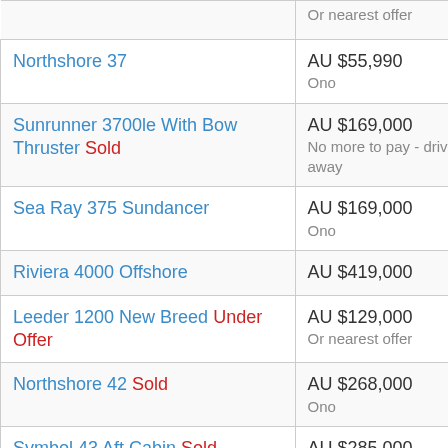| Listing | Price |
| --- | --- |
|  | Or nearest offer |
| Northshore 37 | AU $55,990
Ono |
| Sunrunner 3700le With Bow Thruster Sold | AU $169,000
No more to pay - drive away |
| Sea Ray 375 Sundancer | AU $169,000
Ono |
| Riviera 4000 Offshore | AU $419,000 |
| Leeder 1200 New Breed Under Offer | AU $129,000
Or nearest offer |
| Northshore 42 Sold | AU $268,000
Ono |
| Symbol 43 Aft Cabin Sold | AU $285,000
Ono |